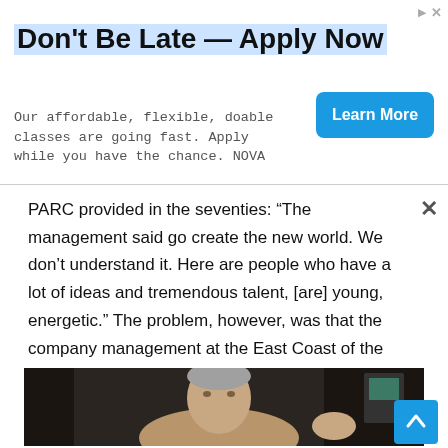Don't Be Late — Apply Now
Our affordable, flexible, doable classes are going fast. Apply while you have the chance. NOVA
PARC provided in the seventies: “The management said go create the new world. We don’t understand it. Here are people who have a lot of ideas and tremendous talent, [are] young, energetic.” The problem, however, was that the company management at the East Coast of the USA did not [care a straw for] the PARC’s research results unless they were directly involved with photocopierse.
[Figure (photo): A middle-aged man with grey hair, wearing a tan/khaki polo shirt, seated and gesturing with his right hand, appearing to be in an interview setting with a bookshelf and monitor in the background.]